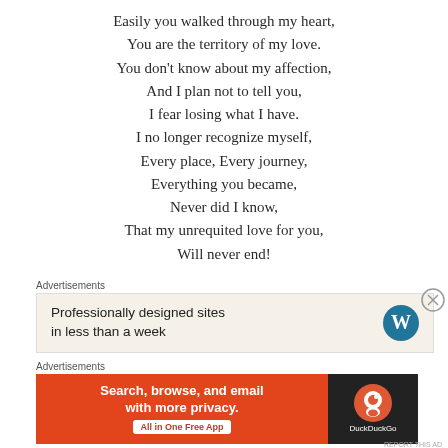Easily you walked through my heart,
You are the territory of my love.
You don't know about my affection,
And I plan not to tell you,
I fear losing what I have.
I no longer recognize myself,
Every place, Every journey,
Everything you became,
Never did I know,
That my unrequited love for you,
Will never end!
Advertisements
[Figure (other): WordPress advertisement: Professionally designed sites in less than a week]
Advertisements
[Figure (other): DuckDuckGo advertisement: Search, browse, and email with more privacy. All in One Free App]